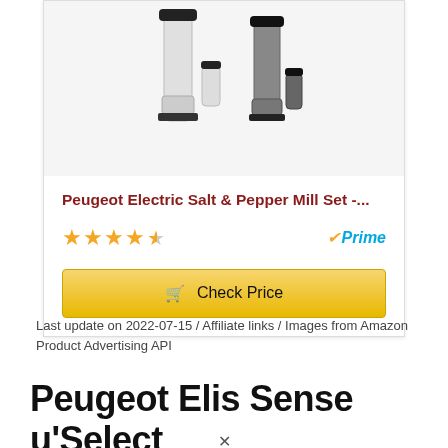[Figure (photo): Product photo of Peugeot Electric Salt and Pepper Mill Set - two grinders shown, one white/silver and one grey/black, with small spice jars beside each]
Peugeot Electric Salt & Pepper Mill Set -...
[Figure (infographic): 4.5 star rating shown with yellow stars, and Amazon Prime badge on the right]
[Figure (infographic): Check Price button with shopping cart icon, gold/yellow gradient background]
Last update on 2022-07-15 / Affiliate links / Images from Amazon Product Advertising API
Peugeot Elis Sense u'Select